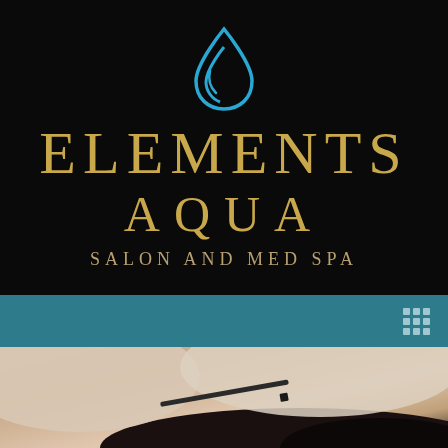[Figure (logo): Elements Aqua Salon and Med Spa logo. Black background with a blue water droplet icon above large gold lettering reading ELEMENTS AQUA SALON AND MED SPA.]
[Figure (screenshot): Teal navigation bar with a white/light blue 3x3 grid menu icon on the right side.]
[Figure (photo): Close-up photo of a medical professional's gloved hands administering an injection near a patient's neck/scalp area with dark hair visible.]